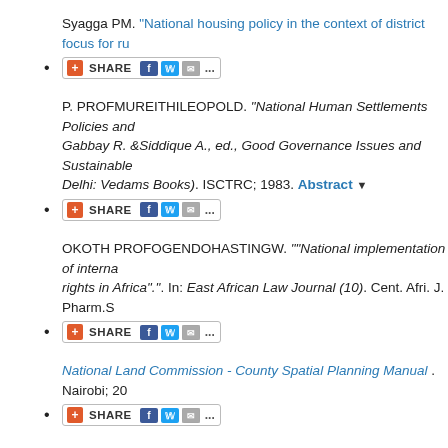Syagga PM. "National housing policy in the context of district focus for ru...
[SHARE button]
P. PROFMUREITHILEOPOLD. "National Human Settlements Policies and... Gabbay R. &Siddique A., ed., Good Governance Issues and Sustainable ... Delhi: Vedams Books). ISCTRC; 1983. Abstract ▼
[SHARE button]
OKOTH PROFOGENDOHASTINGW. ""National implementation of interna... rights in Africa".". In: East African Law Journal (10). Cent. Afri. J. Pharm.S...
[SHARE button]
National Land Commission - County Spatial Planning Manual . Nairobi; 20...
[SHARE button]
National Land Commission - Urban Spatial Planning Manual. Nairobi; 201...
[SHARE button]